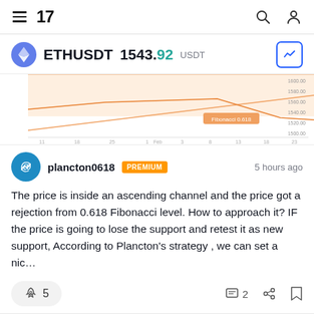TradingView navigation bar with hamburger menu, TV logo, search and profile icons
ETHUSDT 1543.92 USDT
[Figure (screenshot): Partial chart thumbnail showing an ascending channel on ETHUSDT with orange/peach shading and a diagonal trendline, date axis visible at bottom]
plancton0618 PREMIUM 5 hours ago
The price is inside an ascending channel and the price got a rejection from 0.618 Fibonacci level. How to approach it? IF the price is going to lose the support and retest it as new support, According to Plancton's strategy , we can set a nic…
🚀 5   💬 2   share   bookmark